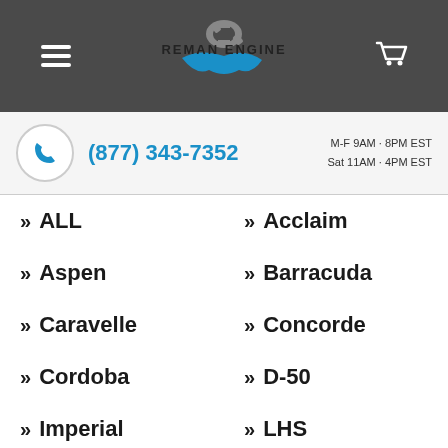Reman Engine — hamburger menu, logo, cart icon
(877) 343-7352 | M-F 9AM - 8PM EST | Sat 11AM - 4PM EST
ALL
Acclaim
Aspen
Barracuda
Caravelle
Concorde
Cordoba
D-50
Imperial
LHS
Le Baron
New Yorker (FWD)
Newport
PT (partially visible)
★ Trustpilot Reviews